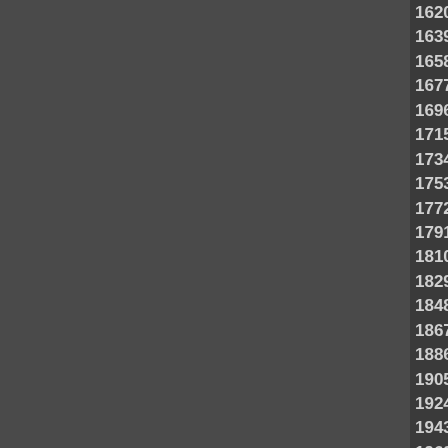1620 1621 1622 1623 1624 1625 1626 1627 1628 1639 1640 1641 1642 1643 1644 1645 1646 1647 1658 1659 1660 1661 1662 1663 1664 1665 1666 1677 1678 1679 1680 1681 1682 1683 1684 1685 1696 1697 1698 1699 1700 1701 1702 1703 1704 1715 1716 1717 1718 1719 1720 1721 1722 1723 1734 1735 1736 1737 1738 1739 1740 1741 1742 1753 1754 1755 1756 1757 1758 1759 1760 1761 1772 1773 1774 1775 1776 1777 1778 1779 1780 1791 1792 1793 1794 1795 1796 1797 1798 1799 1810 1811 1812 1813 1814 1815 1816 1817 1818 1829 1830 1831 1832 1833 1834 1835 1836 1837 1848 1849 1850 1851 1852 1853 1854 1855 1856 1867 1868 1869 1870 1871 1872 1873 1874 1875 1886 1887 1888 1889 1890 1891 1892 1893 1894 1905 1906 1907 1908 1909 1910 1911 1912 1913 1924 1925 1926 1927 1928 1929 1930 1931 1932 1943 1944 1945 1946 1947 1948 1949 1950 1951 1962 1963 1964 1965 1966 1967 1968 1969 1970 1981 1982 1983 1984 1985 1986 1987 1988 1989 2000 2001 2002 2003 2004 2005 2006 2007 2008 2019 2020 2021 2022 2023 2024 2025 2026 2027 2038 2039 2040 2041 2042 2043 2044 2045 2046 2057 2058 2059 2060 2061 2062 2063 2064 2065